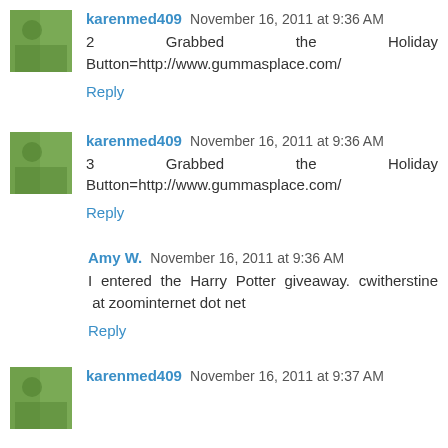karenmed409 November 16, 2011 at 9:36 AM
2 Grabbed the Holiday Button=http://www.gummasplace.com/
Reply
karenmed409 November 16, 2011 at 9:36 AM
3 Grabbed the Holiday Button=http://www.gummasplace.com/
Reply
Amy W. November 16, 2011 at 9:36 AM
I entered the Harry Potter giveaway. cwitherstine at zoominternet dot net
Reply
karenmed409 November 16, 2011 at 9:37 AM